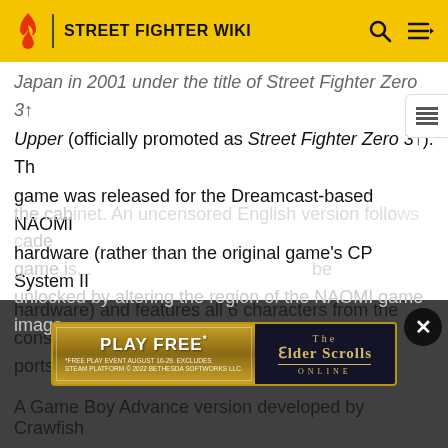STREET FIGHTER WIKI
Japan in 2001 under the title of Street Fighter Zero 3↑ Upper (officially promoted as Street Fighter Zero 3↑). The game was released for the Dreamcast-based NAOMI hardware (rather than the original game's CP System II hardware) and features all 6 characters from the console ports, and some balance changes, most notably removal of "crouch canceling" glitch which allowed V-ISM infinite combos. Upper also allows players to upload any customized characters from the Dreamcast version of the game by inserting a VMU into a memory card slot of the cabinet. An uncensored English version follows arcade game is... be unlocked by altering the region of the NAOMI game image.
[Figure (screenshot): The Elder Scrolls Online advertisement banner with 'PLAY FREE*' text on gold background, *FREE PLAY EVENT AUGUST 16-29. EXCLUDES STEAM PLATFORM © 2022 BETHESDA SOFTWORKS LLC.]
A Game Boy Advance version developed by Crawfish